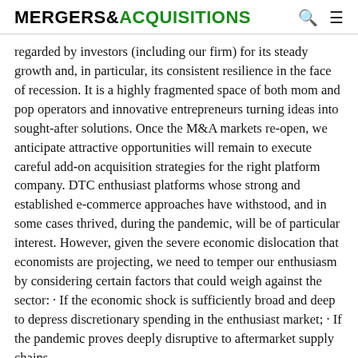MERGERS & ACQUISITIONS
regarded by investors (including our firm) for its steady growth and, in particular, its consistent resilience in the face of recession. It is a highly fragmented space of both mom and pop operators and innovative entrepreneurs turning ideas into sought-after solutions. Once the M&A markets re-open, we anticipate attractive opportunities will remain to execute careful add-on acquisition strategies for the right platform company. DTC enthusiast platforms whose strong and established e-commerce approaches have withstood, and in some cases thrived, during the pandemic, will be of particular interest. However, given the severe economic dislocation that economists are projecting, we need to temper our enthusiasm by considering certain factors that could weigh against the sector: · If the economic shock is sufficiently broad and deep to depress discretionary spending in the enthusiast market; · If the pandemic proves deeply disruptive to aftermarket supply chains